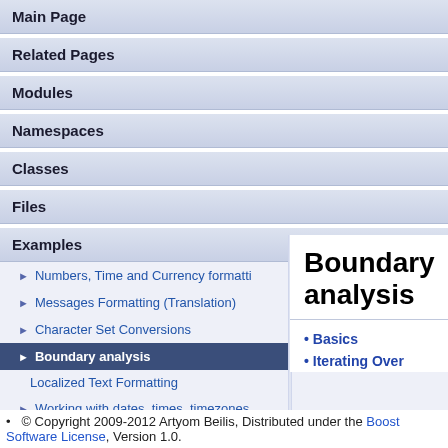Main Page
Related Pages
Modules
Namespaces
Classes
Files
Examples
▶ Numbers, Time and Currency formatti
▶ Messages Formatting (Translation)
▶ Character Set Conversions
▶ Boundary analysis
Localized Text Formatting
▶ Working with dates, times, timezones
Boundary analysis
Basics
Iterating Over
© Copyright 2009-2012 Artyom Beilis, Distributed under the Boost Software License, Version 1.0.